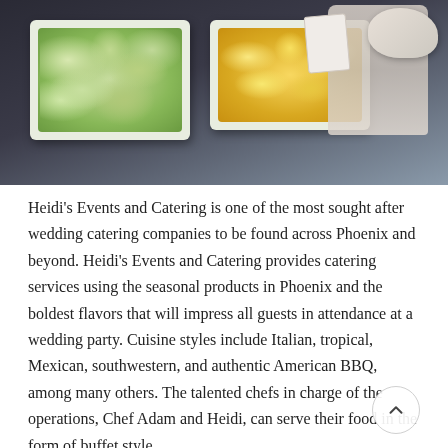[Figure (photo): A catering buffet table covered with a dark navy tablecloth, featuring two large white rectangular trays — one with green vegetable pieces (likely zucchini or cucumber) and one with yellow pineapple chunks. Bottles, a gravy boat, and a card stand are visible in the background.]
Heidi's Events and Catering is one of the most sought after wedding catering companies to be found across Phoenix and beyond. Heidi's Events and Catering provides catering services using the seasonal products in Phoenix and the boldest flavors that will impress all guests in attendance at a wedding party. Cuisine styles include Italian, tropical, Mexican, southwestern, and authentic American BBQ, among many others. The talented chefs in charge of the operations, Chef Adam and Heidi, can serve their food in the form of buffet style,